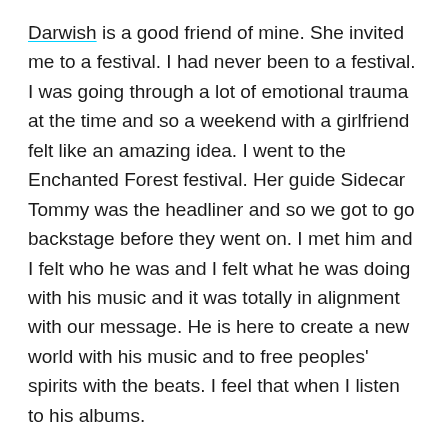Darwish is a good friend of mine. She invited me to a festival. I had never been to a festival. I was going through a lot of emotional trauma at the time and so a weekend with a girlfriend felt like an amazing idea. I went to the Enchanted Forest festival. Her guide Sidecar Tommy was the headliner and so we got to go backstage before they went on. I met him and I felt who he was and I felt what he was doing with his music and it was totally in alignment with our message. He is here to create a new world with his music and to free peoples' spirits with the beats. I feel that when I listen to his albums.
Ideas? I don't know where they're coming from, I call them Universe. Universe is shooting me an idea and the universe says, "Here's your collaboration for